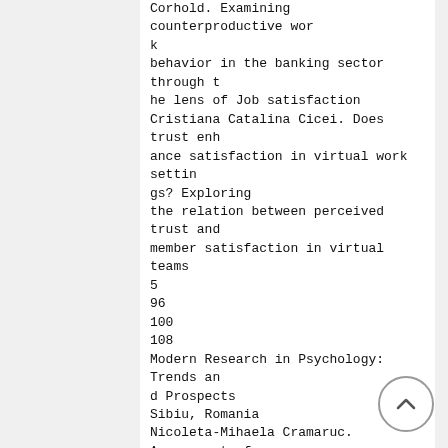Corhold. Examining counterproductive work behavior in the banking sector through the lens of Job satisfaction
Cristiana Catalina Cicei. Does trust enhance satisfaction in virtual work settings? Exploring the relation between perceived trust and member satisfaction in virtual teams
5
96
100
108
Modern Research in Psychology: Trends and Prospects
Sibiu, Romania
Nicoleta-Mihaela Cramaruc. Assessment of workplace mobbing: reliability of a Romanian version of The Negative Acts Questionnaire
Dan Florin Stănescu, Elena-Mădălina Iorga. Does positive affect influence the way clerks perform emotional labor? Explorative pilot study